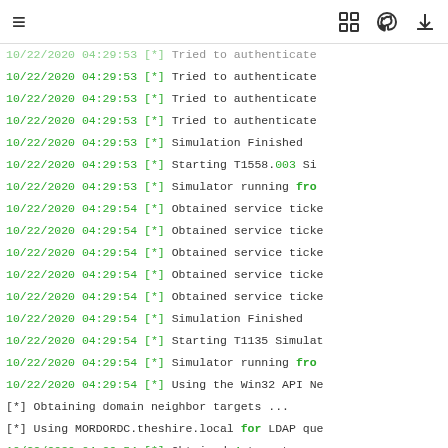≡  [expand] [github] [download]
10/22/2020 04:29:53 [*]  Tried to authenticate
10/22/2020 04:29:53 [*]  Tried to authenticate
10/22/2020 04:29:53 [*]  Tried to authenticate
10/22/2020 04:29:53 [*]  Simulation Finished
10/22/2020 04:29:53 [*]  Starting T1558.003 Si
10/22/2020 04:29:53 [*]  Simulator running from
10/22/2020 04:29:54 [*]  Obtained service ticke
10/22/2020 04:29:54 [*]  Obtained service ticke
10/22/2020 04:29:54 [*]  Obtained service ticke
10/22/2020 04:29:54 [*]  Obtained service ticke
10/22/2020 04:29:54 [*]  Obtained service ticke
10/22/2020 04:29:54 [*]  Simulation Finished
10/22/2020 04:29:54 [*]  Starting T1135 Simulat
10/22/2020 04:29:54 [*]  Simulator running from
10/22/2020 04:29:54 [*]  Using the Win32 API Ne
[*] Obtaining domain neighbor targets ...
[*] Using MORDORDC.theshire.local for LDAP que
10/22/2020 04:29:54 [*]  Obtained 4 target comp
10/22/2020 04:29:54 [*]  Successfully enumerate
10/22/2020 04:29:54 [*]  Successfully enumerate
10/22/2020 04:29:54 [*]  Successfully enumerate
10/22/2020 04:29:54 [*]  Successfully enumerate
10/22/2020 04:29:54 [*]  Simulation Finished